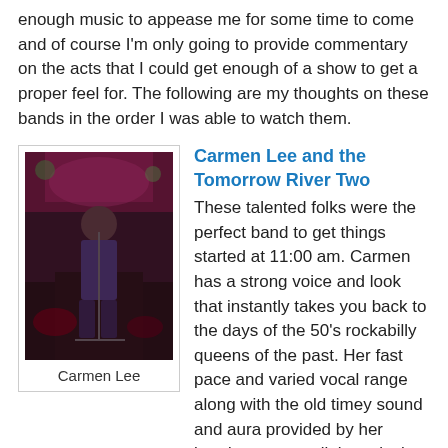enough music to appease me for some time to come and of course I'm only going to provide commentary on the acts that I could get enough of a show to get a proper feel for. The following are my thoughts on these bands in the order I was able to watch them.
[Figure (photo): A performer on stage, Carmen Lee, singing into a microphone in a dimly lit venue with reddish/purple stage lighting. Drums visible in background.]
Carmen Lee
Carmen Lee and the Tomorrow River Two
These talented folks were the perfect band to get things started at 11:00 am. Carmen has a strong voice and look that instantly takes you back to the days of the 50's rockabilly queens of the past. Her fast pace and varied vocal range along with the old timey sound and aura provided by her bandmates got all those lucky enough to arrive early in the move around and drink beer mode. Instantly I knew I had made a wise decision to drive 6-1/2 hours one way.
The Dirty Generals